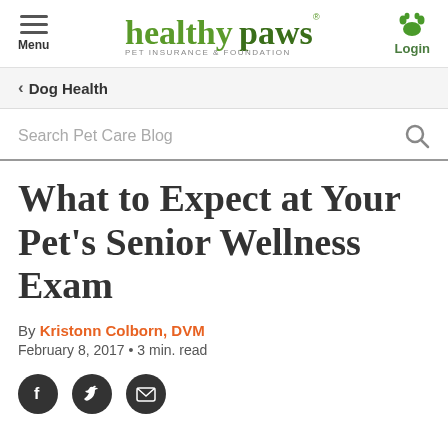Menu | healthypaws PET INSURANCE & FOUNDATION | Login
Dog Health
Search Pet Care Blog
What to Expect at Your Pet's Senior Wellness Exam
By Kristonn Colborn, DVM
February 8, 2017 • 3 min. read
[Figure (infographic): Social sharing icons: Facebook, Twitter, and Email]